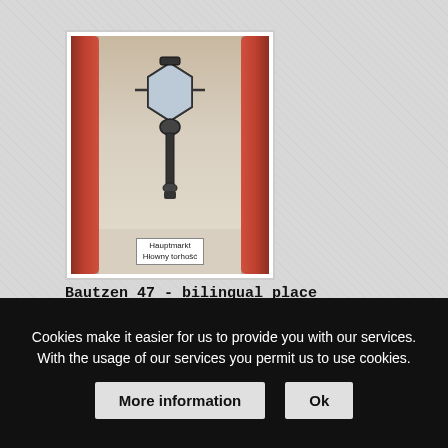[Figure (photo): Photo of a street lamp mounted on a wall with red curtains on either side. Below the lamp is a bilingual sign reading 'Hauptmarkt' and 'Hłowny torhošć' (in German and Sorbian). The photo has a white border/frame.]
Bautzen 47 - bilingual place
Cookies make it easier for us to provide you with our services. With the usage of our services you permit us to use cookies.
More information
Ok